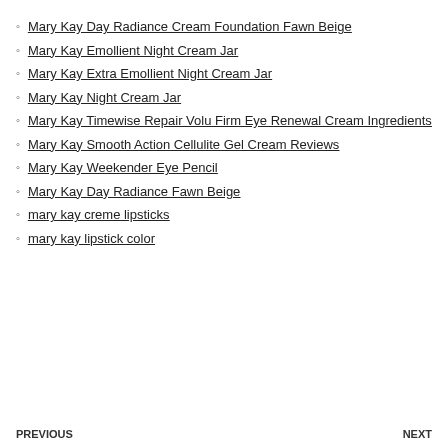Mary Kay Day Radiance Cream Foundation Fawn Beige
Mary Kay Emollient Night Cream Jar
Mary Kay Extra Emollient Night Cream Jar
Mary Kay Night Cream Jar
Mary Kay Timewise Repair Volu Firm Eye Renewal Cream Ingredients
Mary Kay Smooth Action Cellulite Gel Cream Reviews
Mary Kay Weekender Eye Pencil
Mary Kay Day Radiance Fawn Beige
mary kay creme lipsticks
mary kay lipstick color
PREVIOUS    NEXT